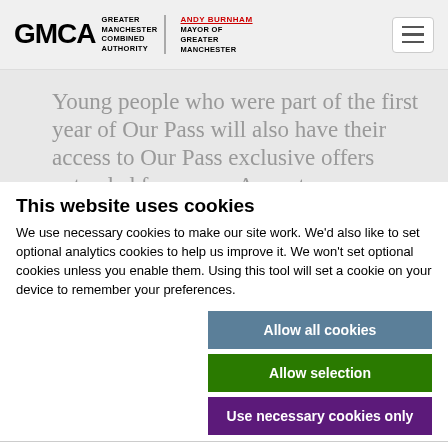GMCA Greater Manchester Combined Authority | Andy Burnham Mayor of Greater Manchester
Young people who were part of the first year of Our Pass will also have their access to Our Pass exclusive offers extended for a year. As part
This website uses cookies
We use necessary cookies to make our site work. We'd also like to set optional analytics cookies to help us improve it. We won't set optional cookies unless you enable them. Using this tool will set a cookie on your device to remember your preferences.
Allow all cookies | Allow selection | Use necessary cookies only
Necessary  Preferences  Statistics  Marketing  Show details